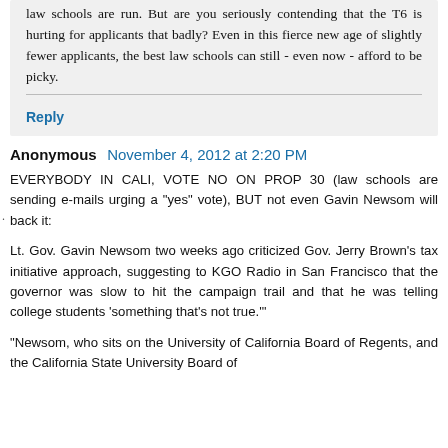law schools are run. But are you seriously contending that the T6 is hurting for applicants that badly? Even in this fierce new age of slightly fewer applicants, the best law schools can still - even now - afford to be picky.
Reply
Anonymous  November 4, 2012 at 2:20 PM
EVERYBODY IN CALI, VOTE NO ON PROP 30 (law schools are sending e-mails urging a "yes" vote), BUT not even Gavin Newsom will back it:
Lt. Gov. Gavin Newsom two weeks ago criticized Gov. Jerry Brown's tax initiative approach, suggesting to KGO Radio in San Francisco that the governor was slow to hit the campaign trail and that he was telling college students 'something that's not true.'
"Newsom, who sits on the University of California Board of Regents, and the California State University Board of